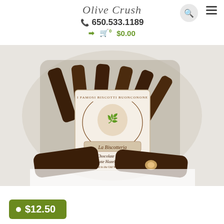Olive Crush
650.533.1189
$0.00
[Figure (photo): Bag of La Biscotteria Chocolate Dipped Chocolate Hazelnut Biscottini with two biscotti pieces in front showing hazelnut center]
$12.50